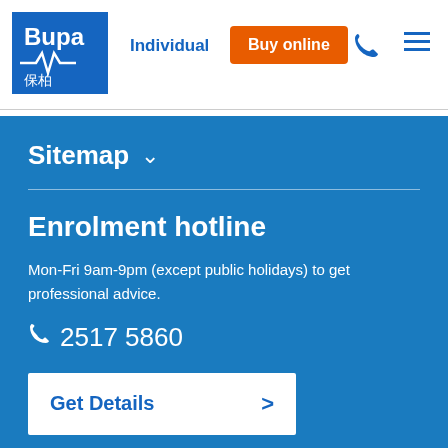Bupa 保柏 | Individual | Buy online
Sitemap
Enrolment hotline
Mon-Fri 9am-9pm (except public holidays) to get professional advice.
2517 5860
Get Details